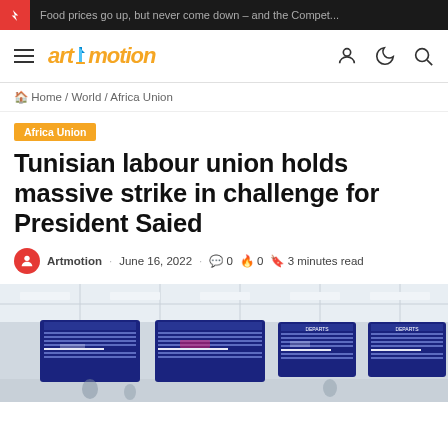Food prices go up, but never come down – and the Compet...
[Figure (logo): Artmotion logo with hamburger menu and nav icons]
Home / World / Africa Union
Africa Union
Tunisian labour union holds massive strike in challenge for President Saied
Artmotion · June 16, 2022 💬 0 🔥 0 🔖 3 minutes read
[Figure (photo): Airport departure/arrival screens showing flight information boards in blue with white text]